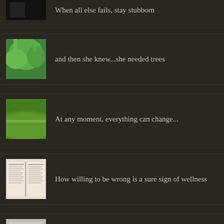When all else fails, stay stubborn
and then she knew...she needed trees
At any moment, everything can change...
How willing to be wrong is a sure sign of wellness
For those days when writing seems pointless..